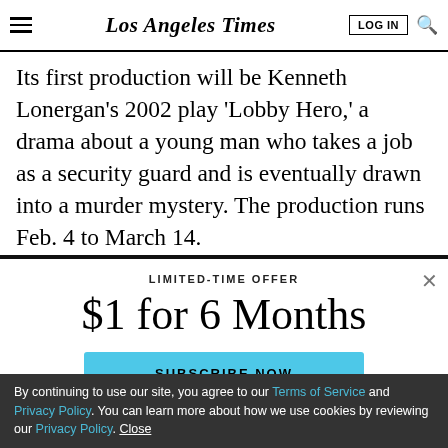Los Angeles Times
Its first production will be Kenneth Lonergan's 2002 play 'Lobby Hero,' a drama about a young man who takes a job as a security guard and is eventually drawn into a murder mystery. The production runs Feb. 4 to March 14.
LIMITED-TIME OFFER
$1 for 6 Months
SUBSCRIBE NOW
By continuing to use our site, you agree to our Terms of Service and Privacy Policy. You can learn more about how we use cookies by reviewing our Privacy Policy. Close